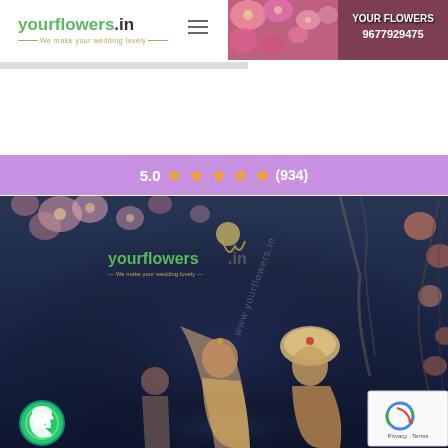[Figure (logo): yourflowers.in logo with tagline 'We make your wedding lovely']
[Figure (photo): Header banner with pink flowers and text YOUR FLOWERS 9677929475]
5.0 ★★★★★ (934)
[Figure (photo): Wedding photo with bride and groom at ceremony, yourflowers.in watermark overlay, WhatsApp icon in bottom left, reCAPTCHA badge in bottom right]